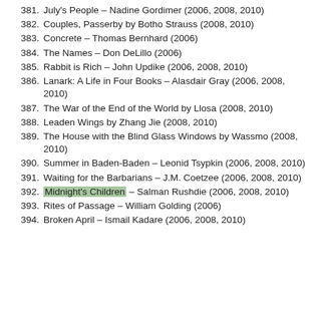381. July's People – Nadine Gordimer (2006, 2008, 2010)
382. Couples, Passerby by Botho Strauss (2008, 2010)
383. Concrete – Thomas Bernhard (2006)
384. The Names – Don DeLillo (2006)
385. Rabbit is Rich – John Updike (2006, 2008, 2010)
386. Lanark: A Life in Four Books – Alasdair Gray (2006, 2008, 2010)
387. The War of the End of the World by Llosa (2008, 2010)
388. Leaden Wings by Zhang Jie (2008, 2010)
389. The House with the Blind Glass Windows by Wassmo (2008, 2010)
390. Summer in Baden-Baden – Leonid Tsypkin (2006, 2008, 2010)
391. Waiting for the Barbarians – J.M. Coetzee (2006, 2008, 2010)
392. Midnight's Children – Salman Rushdie (2006, 2008, 2010)
393. Rites of Passage – William Golding (2006)
394. Broken April – Ismail Kadare (2006, 2008, 2010)